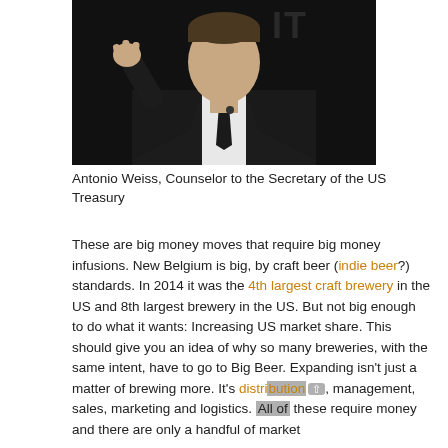[Figure (photo): A man in a dark suit and tie gesturing with his hand, photographed against a dark background with partial text visible.]
Antonio Weiss, Counselor to the Secretary of the US Treasury
These are big money moves that require big money infusions. New Belgium is big, by craft beer (indie beer?) standards. In 2014 it was the 4th largest craft brewery in the US and 8th largest brewery in the US. But not big enough to do what it wants: Increasing US market share. This should give you an idea of why so many breweries, with the same intent, have to go to Big Beer. Expanding isn't just a matter of brewing more. It's distribution, management, sales, marketing and logistics. All of these require money and there are only a handful of market